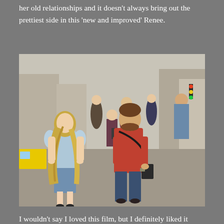her old relationships and it doesn't always bring out the prettiest side in this 'new and improved' Renee.
[Figure (photo): A woman with long blonde hair in a light blue top and blue mini skirt walking on a busy city street, talking with a man in a red polo shirt with a shoulder bag. Crowd visible in background.]
I wouldn't say I loved this film, but I definitely liked it more than I thought I would. I enjoyed Michelle Williams as the high-profile cosmetic company mogul. I appreciate how Williams always loses her identity and sinks her teeth into every role she plays. Such an underrated actor. Rory Scovel was also a refreshing new presence onscreen as Ethan. So I say see it for its charming performances and